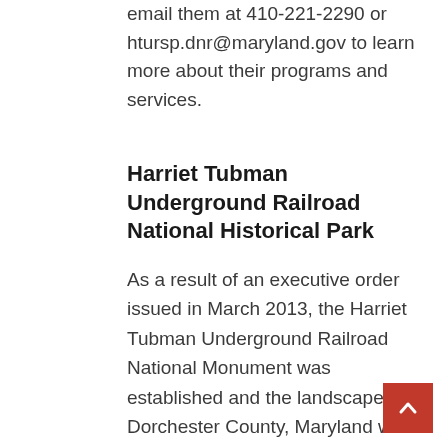email them at 410-221-2290 or htursp.dnr@maryland.gov to learn more about their programs and services.
Harriet Tubman Underground Railroad National Historical Park
As a result of an executive order issued in March 2013, the Harriet Tubman Underground Railroad National Monument was established and the landscape of Dorchester County, Maryland was designated as a historical landmark for its association with Harriet Tubman and the Underground Railroad. When the Harriet Tubman Underground Railroad National